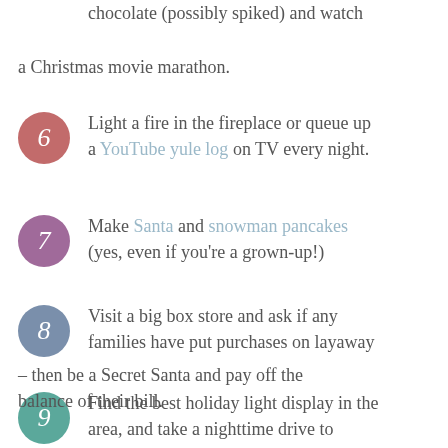5. Unplug for an entire night to drink hot chocolate (possibly spiked) and watch a Christmas movie marathon.
6. Light a fire in the fireplace or queue up a YouTube yule log on TV every night.
7. Make Santa and snowman pancakes (yes, even if you're a grown-up!)
8. Visit a big box store and ask if any families have put purchases on layaway – then be a Secret Santa and pay off the balance of their bill.
9. Find the best holiday light display in the area, and take a nighttime drive to